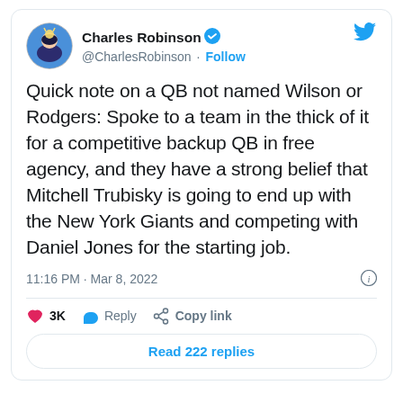[Figure (screenshot): Tweet screenshot from Charles Robinson (@CharlesRobinson) posted at 11:16 PM Mar 8, 2022. Tweet text: 'Quick note on a QB not named Wilson or Rodgers: Spoke to a team in the thick of it for a competitive backup QB in free agency, and they have a strong belief that Mitchell Trubisky is going to end up with the New York Giants and competing with Daniel Jones for the starting job.' Shows 3K likes, Reply, Copy link actions, and Read 222 replies button.]